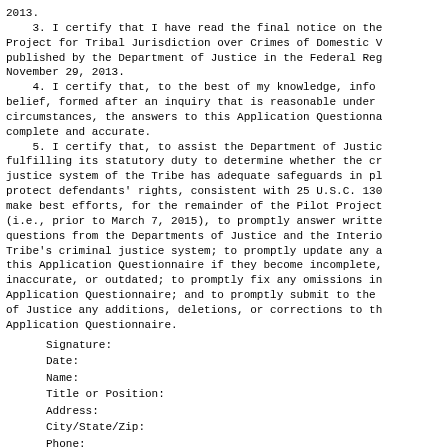2013.
    3. I certify that I have read the final notice on the Project for Tribal Jurisdiction over Crimes of Domestic V published by the Department of Justice in the Federal Reg November 29, 2013.
    4. I certify that, to the best of my knowledge, info belief, formed after an inquiry that is reasonable under circumstances, the answers to this Application Questionna complete and accurate.
    5. I certify that, to assist the Department of Justic fulfilling its statutory duty to determine whether the c justice system of the Tribe has adequate safeguards in p protect defendants' rights, consistent with 25 U.S.C. 13 make best efforts, for the remainder of the Pilot Project (i.e., prior to March 7, 2015), to promptly answer writte questions from the Departments of Justice and the Interi Tribe's criminal justice system; to promptly update any this Application Questionnaire if they become incomplete, inaccurate, or outdated; to promptly fix any omissions in Application Questionnaire; and to promptly submit to the of Justice any additions, deletions, or corrections to th Application Questionnaire.
Signature:
Date:
Name:
Title or Position:
Address:
City/State/Zip:
Phone:
FAX: